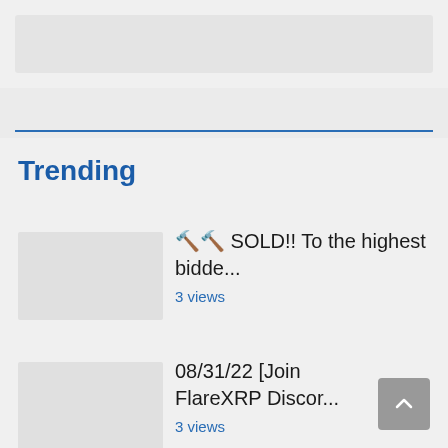[Figure (other): Gray banner/advertisement placeholder at top]
Trending
🔨🔨 SOLD!! To the highest bidde...
3 views
08/31/22 [Join FlareXRP Discor...
3 views